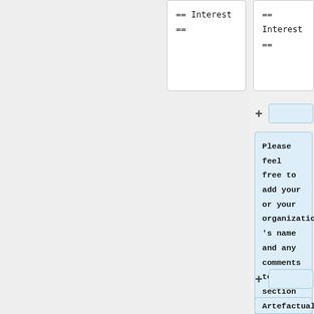== Interest ==
== Interest ==
Please feel free to add your or your organization 's name and any comments to this section if you have an interest in improving this module.
Artefactual would like